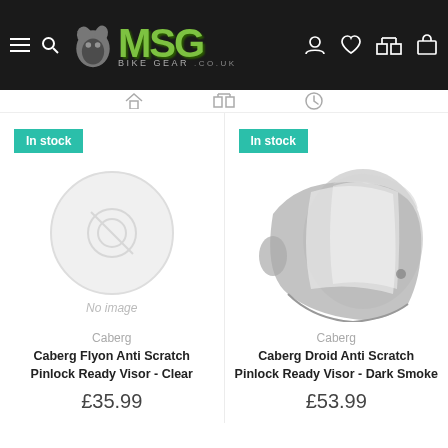[Figure (screenshot): MSG Bike Gear website navigation bar with logo, hamburger/search icons on left, and user/wishlist/compare/cart icons on right]
In stock
[Figure (photo): No image placeholder (circle with camera icon)]
In stock
[Figure (photo): Caberg visor product photo - clear motorcycle helmet visor]
Caberg
Caberg Flyon Anti Scratch Pinlock Ready Visor - Clear
£35.99
Caberg
Caberg Droid Anti Scratch Pinlock Ready Visor - Dark Smoke
£53.99